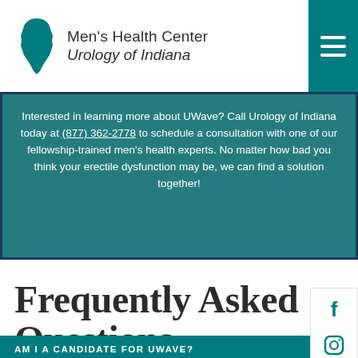[Figure (logo): Men's Health Center Urology of Indiana logo with Indiana state silhouette and hamburger menu button]
Interested in learning more about UWave? Call Urology of Indiana today at (877) 362-2778 to schedule a consultation with one of our fellowship-trained men's health experts. No matter how bad you think your erectile dysfunction may be, we can find a solution together!
Frequently Asked Questions
AM I A CANDIDATE FOR UWAVE?